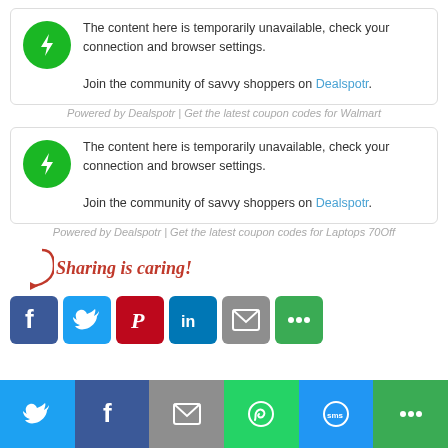[Figure (infographic): Card with green lightning bolt circle icon and text: The content here is temporarily unavailable, check your connection and browser settings. Join the community of savvy shoppers on Dealspotr.]
Powered by Dealspotr | Get the latest coupon codes for Walmart
[Figure (infographic): Card with green lightning bolt circle icon and text: The content here is temporarily unavailable, check your connection and browser settings. Join the community of savvy shoppers on Dealspotr.]
Powered by Dealspotr | Get the latest coupon codes for Laptops 70Off
Sharing is caring!
[Figure (infographic): Social sharing buttons: Facebook, Twitter, Pinterest, LinkedIn, Email, More (green). Below: bottom bar with Twitter, Facebook, Email, WhatsApp, SMS, More icons.]